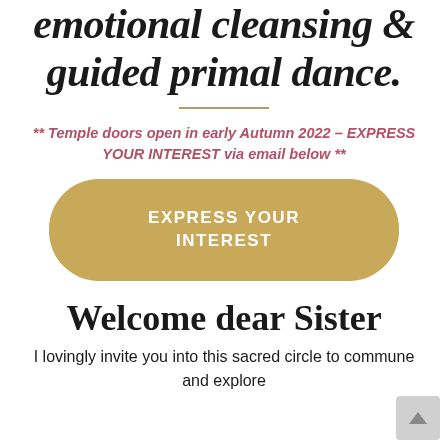emotional cleansing & guided primal dance.
** Temple doors open in early Autumn 2022 – EXPRESS YOUR INTEREST via email below **
[Figure (other): Gold rounded-rectangle call-to-action button with white text reading EXPRESS YOUR INTEREST]
Welcome dear Sister
I lovingly invite you into this sacred circle to commune and explore